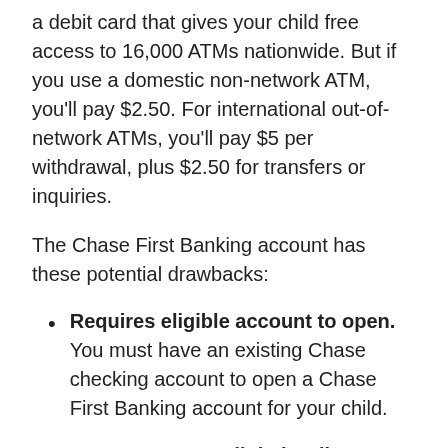a debit card that gives your child free access to 16,000 ATMs nationwide. But if you use a domestic non-network ATM, you'll pay $2.50. For international out-of-network ATMs, you'll pay $5 per withdrawal, plus $2.50 for transfers or inquiries.
The Chase First Banking account has these potential drawbacks:
Requires eligible account to open. You must have an existing Chase checking account to open a Chase First Banking account for your child.
Doesn't support digital wallets. At this time, your child can't link their Chase